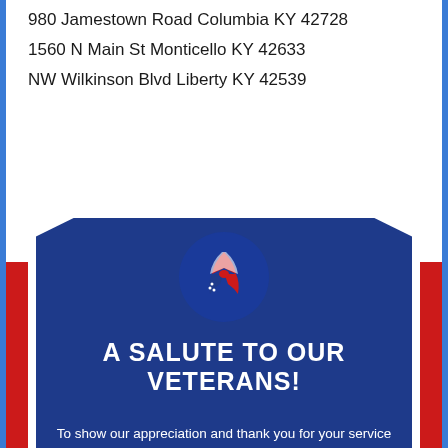980 Jamestown Road Columbia KY 42728
1560 N Main St Monticello KY 42633
NW Wilkinson Blvd Liberty KY 42539
[Figure (infographic): Veterans salute infographic with a red, white and blue ribbon on a dark blue pentagon shape with red side bars. Contains bold text 'A SALUTE TO OUR VETERANS!' and body text about appreciation for military service.]